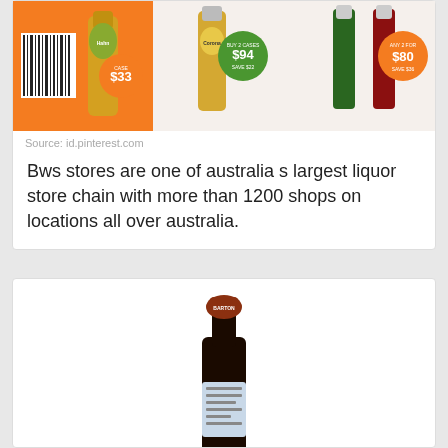[Figure (photo): BWS liquor store promotional advertisement showing beer and wine bottles with prices: Hahn Premium Light case $33, Corona Buy 2 cases $94 save $22, and champagne Any 2 for $80 save $36]
Source: id.pinterest.com
Bws stores are one of australia s largest liquor store chain with more than 1200 shops on locations all over australia.
[Figure (photo): A dark wine bottle with a label showing a red/brown design, appears to be a red wine bottle standing upright]